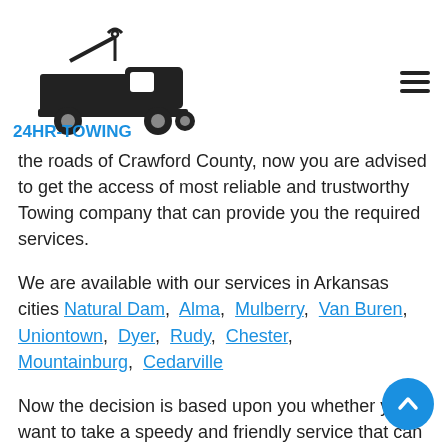24HR-TOWING (logo with tow truck image and hamburger menu)
the roads of Crawford County, now you are advised to get the access of most reliable and trustworthy Towing company that can provide you the required services.
We are available with our services in Arkansas cities Natural Dam, Alma, Mulberry, Van Buren, Uniontown, Dyer, Rudy, Chester, Mountainburg, Cedarville
Now the decision is based upon you whether you want to take a speedy and friendly service that can save your day or by getting some ordinary services from any ordinary company